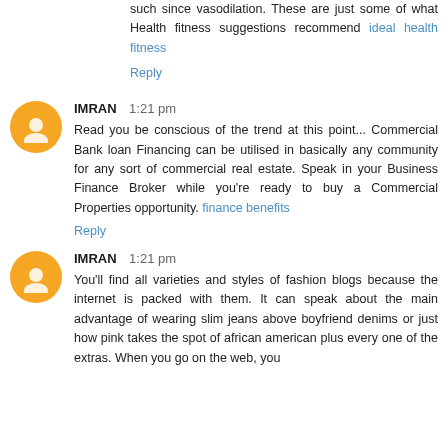such since vasodilation. These are just some of what Health fitness suggestions recommend ideal health fitness
Reply
IMRAN 1:21 pm
Read you be conscious of the trend at this point... Commercial Bank loan Financing can be utilised in basically any community for any sort of commercial real estate. Speak in your Business Finance Broker while you're ready to buy a Commercial Properties opportunity. finance benefits
Reply
IMRAN 1:21 pm
You'll find all varieties and styles of fashion blogs because the internet is packed with them. It can speak about the main advantage of wearing slim jeans above boyfriend denims or just how pink takes the spot of african american plus every one of the extras. When you go on the web, you